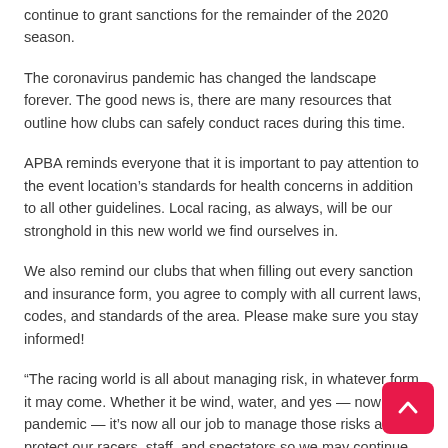continue to grant sanctions for the remainder of the 2020 season.
The coronavirus pandemic has changed the landscape forever. The good news is, there are many resources that outline how clubs can safely conduct races during this time.
APBA reminds everyone that it is important to pay attention to the event location’s standards for health concerns in addition to all other guidelines. Local racing, as always, will be our stronghold in this new world we find ourselves in.
We also remind our clubs that when filling out every sanction and insurance form, you agree to comply with all current laws, codes, and standards of the area. Please make sure you stay informed!
“The racing world is all about managing risk, in whatever form it may come. Whether it be wind, water, and yes — now a pandemic — it’s now all our job to manage those risks and protect our racers, staff, and spectators so we may continue to race for many years to come. Our world has changed, and we will continue. We just need to adapt to our current racing conditions. Racing is what we do: we eat it,